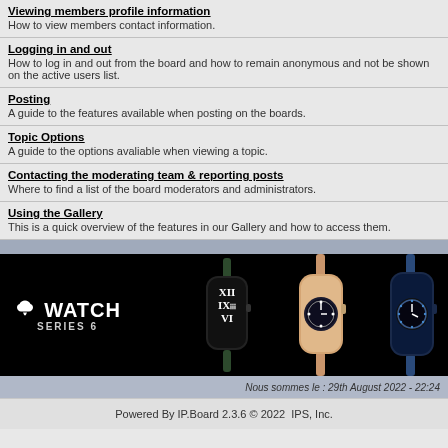Viewing members profile information
How to view members contact information.
Logging in and out
How to log in and out from the board and how to remain anonymous and not be shown on the active users list.
Posting
A guide to the features available when posting on the boards.
Topic Options
A guide to the options avaliable when viewing a topic.
Contacting the moderating team & reporting posts
Where to find a list of the board moderators and administrators.
Using the Gallery
This is a quick overview of the features in our Gallery and how to access them.
[Figure (illustration): Apple Watch Series 6 advertisement banner showing three Apple Watch models on black background with Apple Watch logo and Series 6 text]
Nous sommes le : 29th August 2022 - 22:24
Powered By IP.Board 2.3.6 © 2022  IPS, Inc.